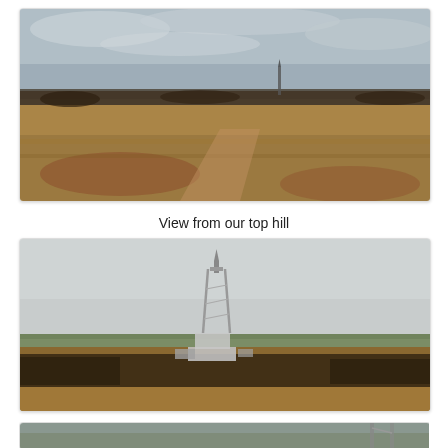[Figure (photo): Wide landscape photo of a dry, flat Oklahoma field with brown dormant grass, reddish-brown soil, overcast cloudy sky, and a distant oil/gas derrick visible on the horizon amid sparse trees.]
View from our top hill
[Figure (photo): Landscape photo showing an oil or gas drilling rig tower standing prominently against a pale gray sky, with bare trees and flat fields in the foreground and midground.]
[Figure (photo): Partially visible landscape photo at the bottom of the page, showing another outdoor scene, cropped.]